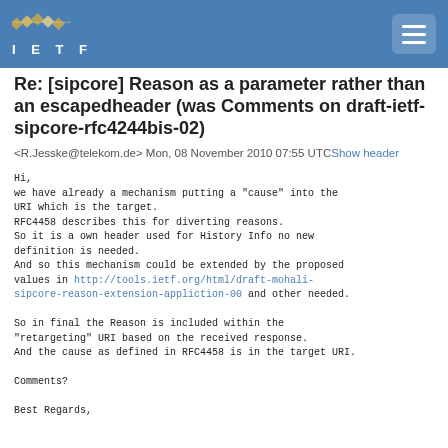IETF
Re: [sipcore] Reason as a parameter rather than an escapedheader (was Comments on draft-ietf-sipcore-rfc4244bis-02)
<R.Jesske@telekom.de> Mon, 08 November 2010 07:55 UTCShow header
Hi,
we have already a mechanism putting a "cause" into the URI which is the target.
RFC4458 describes this for diverting reasons.
So it is a own header used for History Info no new definition is needed.
And so this mechanism could be extended by the proposed values in http://tools.ietf.org/html/draft-mohali-sipcore-reason-extension-appliction-00 and other needed.

So in final the Reason is included within the "retargeting" URI based on the received response.
And the cause as defined in RFC4458 is in the target URI.

Comments?

Best Regards,